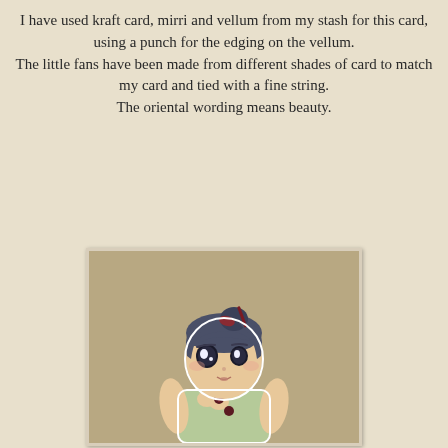I have used kraft card, mirri and vellum from my stash for this card, using a punch for the edging on the vellum. The little fans have been made from different shades of card to match my card and tied with a fine string. The oriental wording means beauty.
[Figure (photo): A cute anime-style illustration of a girl with dark blue hair in a bun with a hairpin/stick, wearing a green sleeveless oriental-style dress (qipao) with dark red frog buttons, posed with hands near her chest. She is a cut-out figure placed on a kraft card background.]